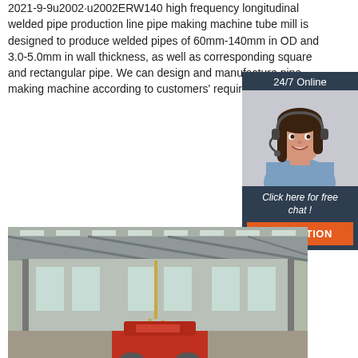2021-9-9u2002·u2002ERW140 high frequency longitudinal welded pipe production line pipe making machine tube mill is designed to produce welded pipes of 60mm-140mm in OD and 3.0-5.0mm in wall thickness, as well as corresponding square and rectangular pipe. We can design and manufacture pipe making machine according to customers' requirements.
[Figure (other): Chat widget with woman wearing headset, '24/7 Online' label, 'Click here for free chat!' text, and 'QUOTATION' button]
Get Price
[Figure (photo): Factory interior showing steel structure warehouse with crane hook and red machinery]